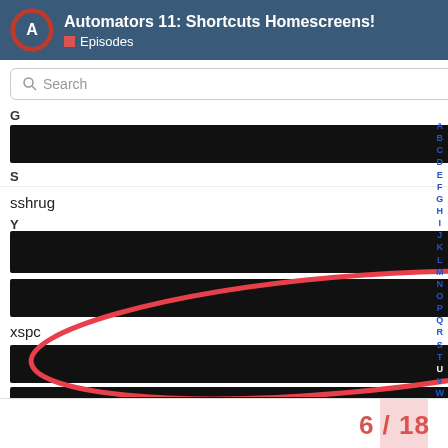Automators 11: Shortcuts Homescreens! Episodes
Search
G
[Figure (other): Redacted black bar under section G]
S
sshrug  ¯\_(ツ)_/¯
[Figure (other): Multiple redacted black bars with red oval annotation circle overlaid on list items, and 'xspc' text item visible]
6 / 18